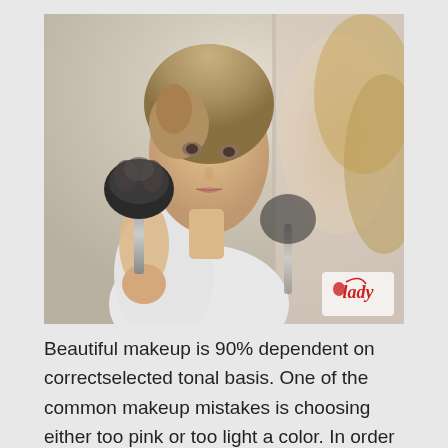[Figure (photo): Young woman applying makeup with a large powder brush, reflected in a bathroom mirror. A blurred reflection is visible on the right side. A red and white 'Lady' logo watermark appears in the bottom-right corner of the photo.]
Beautiful makeup is 90% dependent on correctselected tonal basis. One of the common makeup mistakes is choosing either too pink or too light a color. In order for your makeup to look natural, it is necessary to match the complexion so